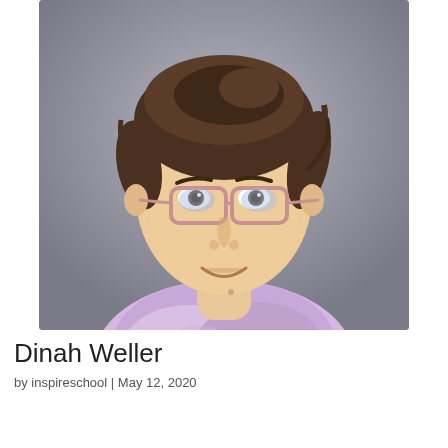[Figure (photo): School portrait photo of Dinah Weller, a young woman with brown hair pulled back, wearing pink/clear-framed glasses and a lavender tie-dye shirt, smiling against a grey background.]
Dinah Weller
by inspireschool | May 12, 2020